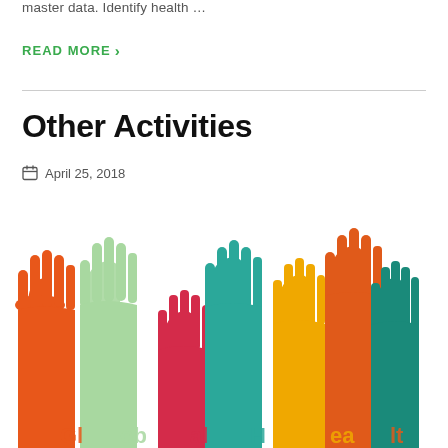master data. Identify health …
READ MORE >
Other Activities
April 25, 2018
[Figure (illustration): Colorful raised hands illustration showing multiple arms raised up in various colors including orange, green, red, teal, yellow, and dark teal, with partial text visible at the bottom]